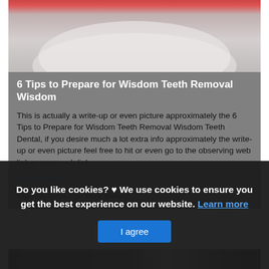[Figure (photo): Partial photo of a dental/medical theme, showing a white bowl or dish with pink/red object, gray background — cropped at top.]
6 Tips to Prepare for Wisdom Teeth Removal Wisdom
This is actually a write-up or even picture approximately the 6 Tips to Prepare for Wisdom Teeth Removal Wisdom Teeth Dental, if you desire much a lot extra info approximately the write-up or even picture feel free to hit or even go to the observing web link or even web link .
(Read More)
Source: txoss.com Visit Web
[Figure (photo): Bottom strip of a photo showing dark/shadowy dental or medical scene.]
Do you like cookies? ♥ We use cookies to ensure you get the best experience on our website. Learn more I agree